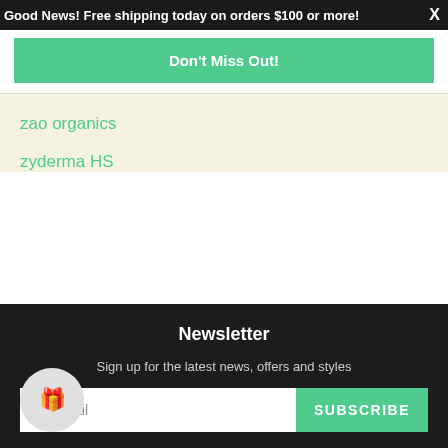Good News! Free shipping today on orders $100 or more! X
Don't Miss Out!
zao organics
zyderma HS
Newsletter
Sign up for the latest news, offers and styles
ail  SUBSCRIBE